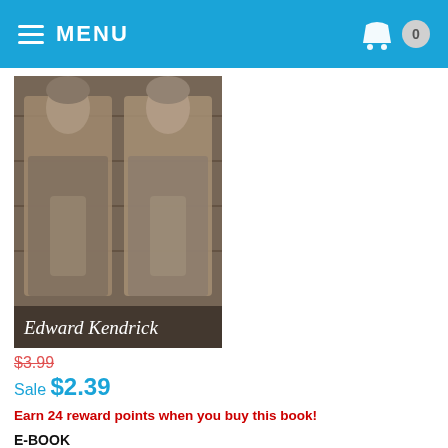MENU
[Figure (photo): Book cover showing two young shirtless men in denim jackets with the author name Edward Kendrick at the bottom in italic serif font. Black and white/sepia photograph style.]
$3.99
Sale $2.39
Earn 24 reward points when you buy this book!
E-BOOK
ZIP (contains EPUB, MOBI, PDF, and HTML formats)
EPUB (for Nook, iPad, iPhone)